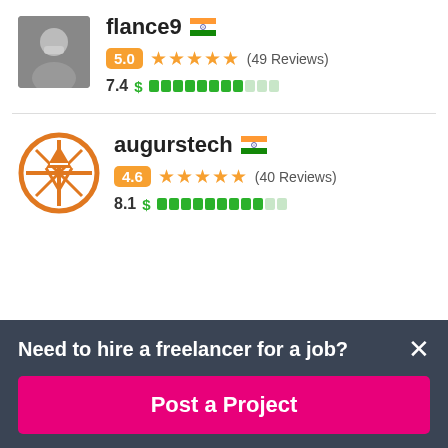[Figure (photo): Profile photo of user flance9, person drinking from a cup]
flance9 🇮🇳
5.0 ★★★★★ (49 Reviews)
7.4 $ ████████░░░
[Figure (logo): augurstech logo - orange circle with stylized A/compass design]
augurstech 🇮🇳
4.6 ★★★★★ (40 Reviews)
8.1 $ █████████░░
Need to hire a freelancer for a job?
Post a Project